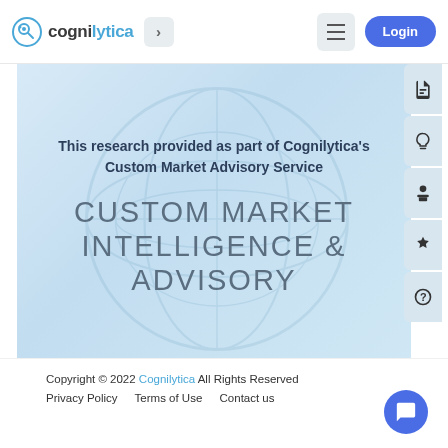[Figure (screenshot): Cognilytica website header with logo, navigation arrow, hamburger menu, and Login button]
[Figure (screenshot): Hero banner with globe watermark background, subtitle text about research and Custom Market Advisory Service, and large display text reading CUSTOM MARKET INTELLIGENCE & ADVISORY]
This research provided as part of Cognilytica's Custom Market Advisory Service
CUSTOM MARKET INTELLIGENCE & ADVISORY
Copyright © 2022 Cognilytica All Rights Reserved
Privacy Policy   Terms of Use   Contact us